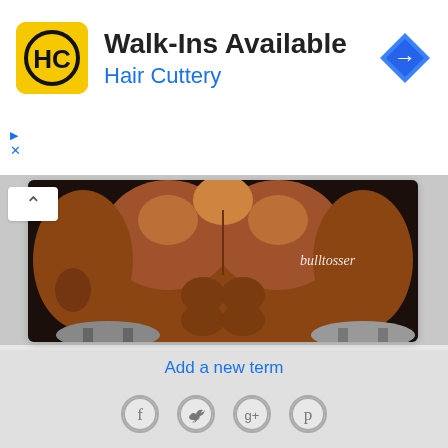[Figure (logo): Hair Cuttery advertisement banner with HC logo in yellow square, title 'Walk-Ins Available', subtitle 'Hair Cuttery' in blue, and a blue diamond navigation icon]
[Figure (photo): Extreme close-up photo of a heavily muscular male bodybuilder's torso and arms, holding weights, with watermark 'bulltosser' in upper right]
Add a new term
[Figure (infographic): Social media icons row: Facebook (f), Twitter (bird), Google+ (g+), Pinterest (p) — circular outlined icons]